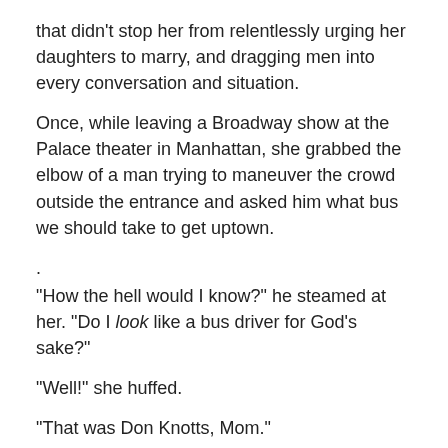that didn't stop her from relentlessly urging her daughters to marry, and dragging men into every conversation and situation.
Once, while leaving a Broadway show at the Palace theater in Manhattan, she grabbed the elbow of a man trying to maneuver the crowd outside the entrance and asked him what bus we should take to get uptown.
.
“How the hell would I know?” he steamed at her. “Do I look like a bus driver for God’s sake?”
“Well!” she huffed.
“That was Don Knotts, Mom.”
“Where?”